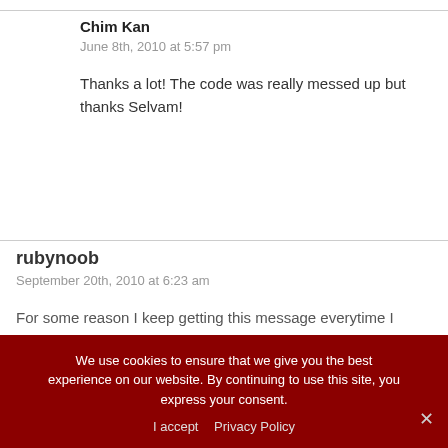Chim Kan
June 8th, 2010 at 5:57 pm
Thanks a lot! The code was really messed up but thanks Selvam!
rubynoob
September 20th, 2010 at 6:23 am
For some reason I keep getting this message everytime I
We use cookies to ensure that we give you the best experience on our website. By continuing to use this site, you express your consent.
I accept   Privacy Policy